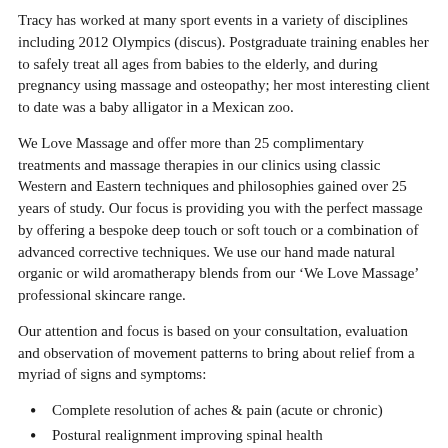Tracy has worked at many sport events in a variety of disciplines including 2012 Olympics (discus). Postgraduate training enables her to safely treat all ages from babies to the elderly, and during pregnancy using massage and osteopathy; her most interesting client to date was a baby alligator in a Mexican zoo.
We Love Massage and offer more than 25 complimentary treatments and massage therapies in our clinics using classic Western and Eastern techniques and philosophies gained over 25 years of study. Our focus is providing you with the perfect massage by offering a bespoke deep touch or soft touch or a combination of advanced corrective techniques. We use our hand made natural organic or wild aromatherapy blends from our ‘We Love Massage’ professional skincare range.
Our attention and focus is based on your consultation, evaluation and observation of movement patterns to bring about relief from a myriad of signs and symptoms:
Complete resolution of aches & pain (acute or chronic)
Postural realignment improving spinal health
Stress relief and Sleep Calm Solutions
Movement correction ‘Prehabilitation’ or ‘Rehabilitation’
Event massage, to remain injury free & improve performance for a ‘Personal Best’